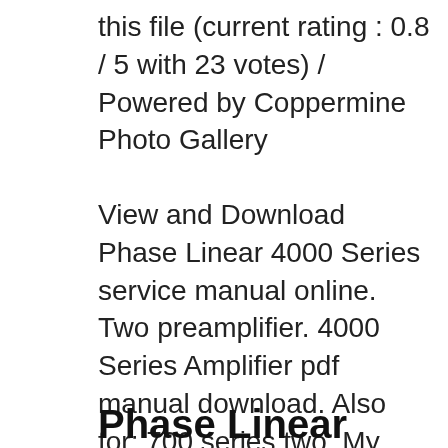this file (current rating : 0.8 / 5 with 23 votes) / Powered by Coppermine Photo Gallery
View and Download Phase Linear 4000 Series service manual online. Two preamplifier. 4000 Series Amplifier pdf manual download. Also for: 700 series two. My rack now houses two Phase Linear 700B and four Phase Linear 400 Series I amplifiers.I can listen in stereo, or 7.1. These amps are hard to beat. I could use all the audio phrases to describe the sound of these amps, but suffice it to say they sound GREAT. It is not the same amp I owned in the 70's.
Phase Linear